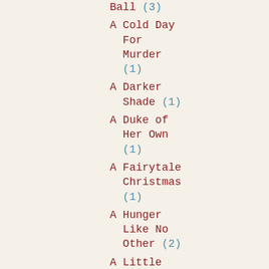Ball (3)
A Cold Day For Murder (1)
A Darker Shade (1)
A Duke of Her Own (1)
A Fairytale Christmas (1)
A Hunger Like No Other (2)
A Little Light